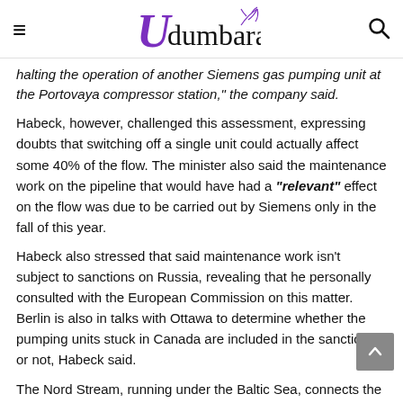Udumbara
halting the operation of another Siemens gas pumping unit at the Portovaya compressor station," the company said.
Habeck, however, challenged this assessment, expressing doubts that switching off a single unit could actually affect some 40% of the flow. The minister also said the maintenance work on the pipeline that would have had a "relevant" effect on the flow was due to be carried out by Siemens only in the fall of this year.
Habeck also stressed that said maintenance work isn't subject to sanctions on Russia, revealing that he personally consulted with the European Commission on this matter. Berlin is also in talks with Ottawa to determine whether the pumping units stuck in Canada are included in the sanctions or not, Habeck said.
The Nord Stream, running under the Baltic Sea, connects the